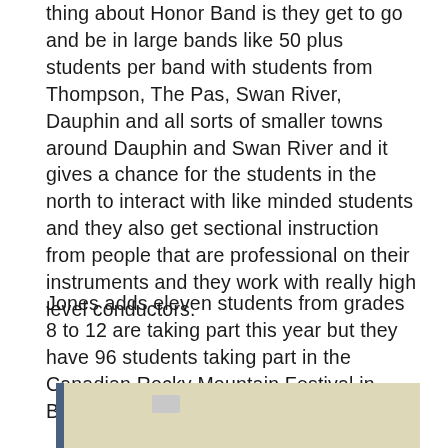thing about Honor Band is they get to go and be in large bands like 50 plus students per band with students from Thompson, The Pas, Swan River, Dauphin and all sorts of smaller towns around Dauphin and Swan River and it gives a chance for the students in the north to interact with like minded students and they also get sectional instruction from people that are professional on their instruments and they work with really high level conductors.
Jones adds eleven students from grades 8 to 12 are taking part this year but they have 96 students taking part in the Canadian Rocky Mountain Festival in Banff in April.
[Figure (photo): Partial view of a photo showing a room interior, cropped at the bottom of the page.]